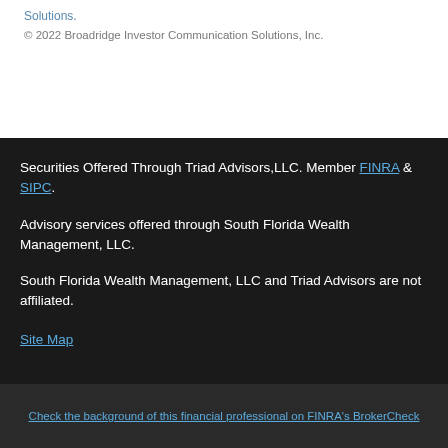Solutions.
© 2022 Broadridge Investor Communication Solutions, Inc.
Securities Offered Through Triad Advisors,LLC. Member FINRA & SIPC.
Advisory services offered through South Florida Wealth Management, LLC.
South Florida Wealth Management, LLC and Triad Advisors are not affiliated.
Site Map
Check the background of this financial professional on FINRA's BrokerCheck